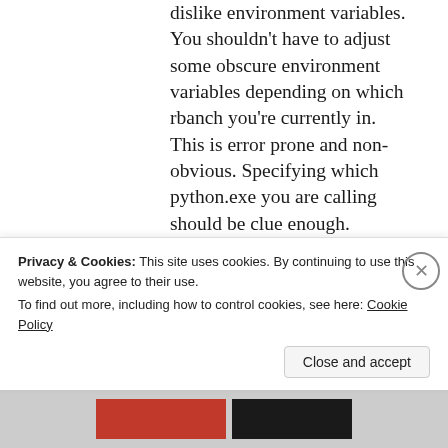dislike environment variables. You shouldn't have to adjust some obscure environment variables depending on which rbanch you're currently in. This is error prone and non-obvious. Specifying which python.exe you are calling should be clue enough. Second, the docs say that:
For example, if PYTHONHOME is set to
Privacy & Cookies: This site uses cookies. By continuing to use this website, you agree to their use.
To find out more, including how to control cookies, see here: Cookie Policy
Close and accept